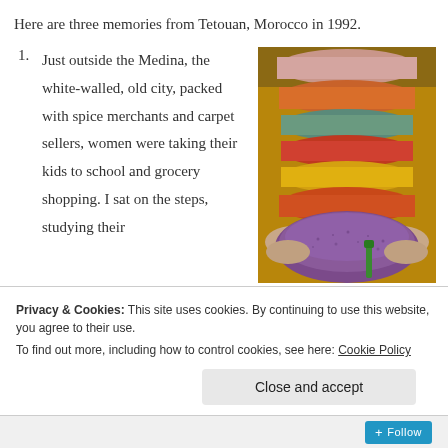Here are three memories from Tetouan, Morocco in 1992.
Just outside the Medina, the white-walled, old city, packed with spice merchants and carpet sellers, women were taking their kids to school and grocery shopping. I sat on the steps, studying their
[Figure (photo): Hands holding colorful spice powders in sacks at a market — purple, orange, yellow, red, green — stacked from bottom to top.]
Privacy & Cookies: This site uses cookies. By continuing to use this website, you agree to their use.
To find out more, including how to control cookies, see here: Cookie Policy
Close and accept